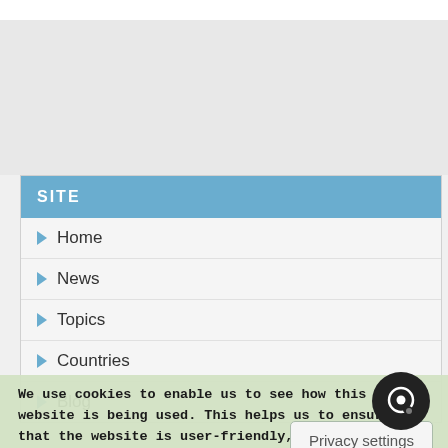SITE
Home
News
Topics
Countries
Blog
Privacy settings
We use cookies to enable us to see how this website is being used. This helps us to ensure that the website is user-friendly, and that you're able to access the information you need easily. Our cookies are stored locally on your device. To accept our cookies, continue browsing as normal: alternatively please see our cookie policy for more information. No, give me more i...
OK, I agree
No, thanks